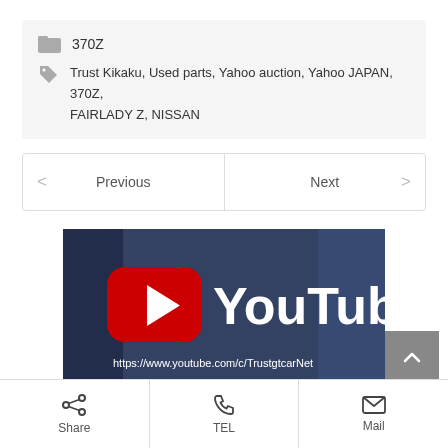370Z
Trust Kikaku, Used parts, Yahoo auction, Yahoo JAPAN, 370Z, FAIRLADY Z, NISSAN
Previous
Next
[Figure (screenshot): YouTube channel thumbnail with red YouTube logo and text 'YouTube' and URL https://www.youtube.com/c/TrustgtcarNet]
Share
TEL
Mail